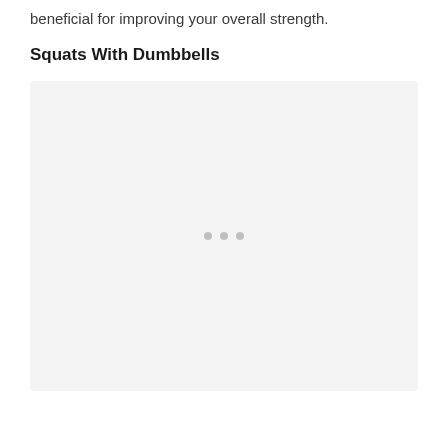beneficial for improving your overall strength.
Squats With Dumbbells
[Figure (photo): Image placeholder with loading dots indicating a photo of squats with dumbbells exercise, shown as a light gray box with three small dots in the center.]